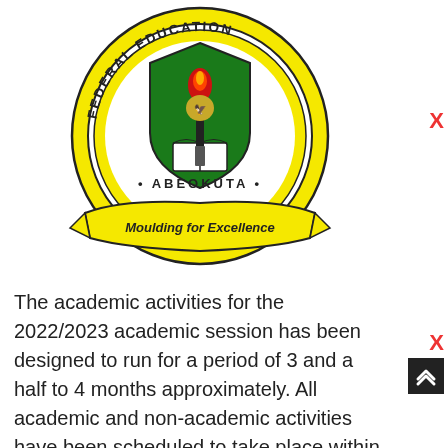[Figure (logo): Federal College of Education Abeokuta logo — circular badge with yellow border, green shield featuring a torch and open book, text 'FEDERAL ... EDUCATION', '• ABEOKUTA •', and ribbon banner reading 'Moulding for Excellence']
The academic activities for the 2022/2023 academic session has been designed to run for a period of 3 and a half to 4 months approximately. All academic and non-academic activities have been scheduled to take place within the three (3)